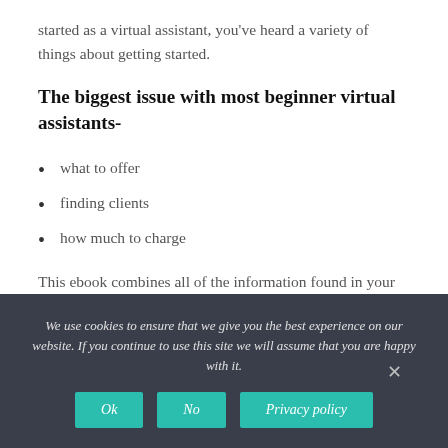started as a virtual assistant, you've heard a variety of things about getting started.
The biggest issue with most beginner virtual assistants-
what to offer
finding clients
how much to charge
This ebook combines all of the information found in your research into one easy reference guide. Nothing
We use cookies to ensure that we give you the best experience on our website. If you continue to use this site we will assume that you are happy with it.